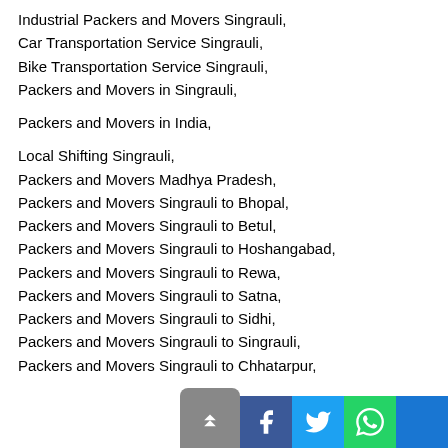Industrial Packers and Movers Singrauli,
Car Transportation Service Singrauli,
Bike Transportation Service Singrauli,
Packers and Movers in Singrauli,
Packers and Movers in India,
Local Shifting Singrauli,
Packers and Movers Madhya Pradesh,
Packers and Movers Singrauli to Bhopal,
Packers and Movers Singrauli to Betul,
Packers and Movers Singrauli to Hoshangabad,
Packers and Movers Singrauli to Rewa,
Packers and Movers Singrauli to Satna,
Packers and Movers Singrauli to Sidhi,
Packers and Movers Singrauli to Singrauli,
Packers and Movers Singrauli to Chhatarpur,